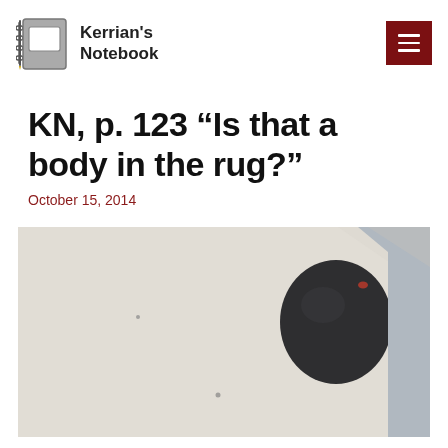Kerrian's Notebook
KN, p. 123 “Is that a body in the rug?”
October 15, 2014
[Figure (photo): Close-up photograph of a white/cream fabric rug with a dark rounded object (resembling a head or body shape) visible at the upper right, against a grey-blue background.]